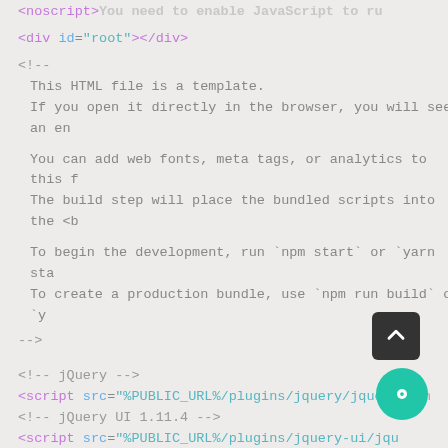<noscript>You need to enable JavaScript to ru
<div id="root"></div>
<!--
  This HTML file is a template.
  If you open it directly in the browser, you will see an en

  You can add web fonts, meta tags, or analytics to this f
  The build step will place the bundled scripts into the <b

  To begin the development, run `npm start` or `yarn sta
  To create a production bundle, use `npm run build` or `y
-->
<!-- jQuery -->
<script src="%PUBLIC_URL%/plugins/jquery/jque...min
<!-- jQuery UI 1.11.4 -->
<script src="%PUBLIC_URL%/plugins/jquery-ui/jqu...